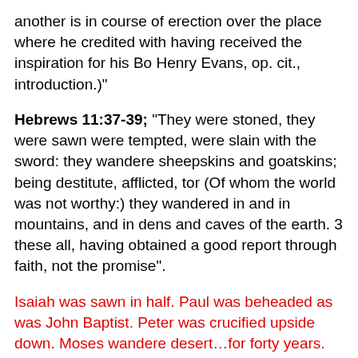another is in course of erection over the place where he credited with having received the inspiration for his Bo Henry Evans, op. cit., introduction.)"
Hebrews 11:37-39: "They were stoned, they were sawn asunder, were tempted, were slain with the sword: they wandered about in sheepskins and goatskins; being destitute, afflicted, tormented; (Of whom the world was not worthy:) they wandered in deserts, and in mountains, and in dens and caves of the earth. 39 And these all, having obtained a good report through faith, received not the promise".
Isaiah was sawn in half. Paul was beheaded as was John the Baptist. Peter was crucified upside down. Moses wandered in the desert…for forty years.
And Joseph Smith? He died in a gun battle after shooting killing two people. Granted, Smith shouldn't have tried to did, but he wasn't in prison for preaching the word of G He was there for trying to close a newspaper which had u